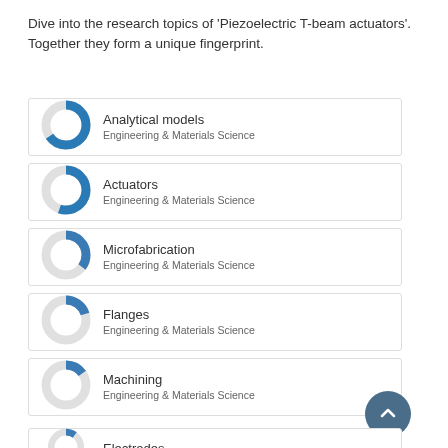Dive into the research topics of 'Piezoelectric T-beam actuators'. Together they form a unique fingerprint.
Analytical models — Engineering & Materials Science
Actuators — Engineering & Materials Science
Microfabrication — Engineering & Materials Science
Flanges — Engineering & Materials Science
Machining — Engineering & Materials Science
Electrodes — Engineering & Materials Science